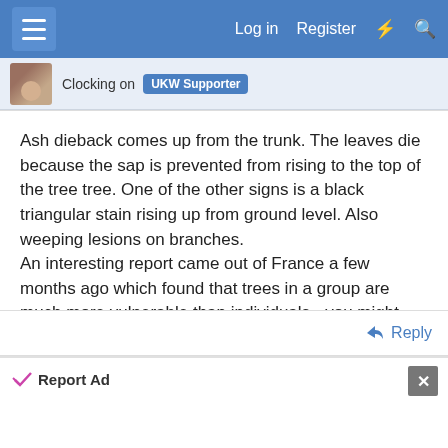Log in  Register
Clocking on  UKW Supporter
Ash dieback comes up from the trunk. The leaves die because the sap is prevented from rising to the top of the tree tree. One of the other signs is a black triangular stain rising up from ground level. Also weeping lesions on branches.
An interesting report came out of France a few months ago which found that trees in a group are much more vulnerable than individuals - you might call it Arborial Distancing
Brian
Reply
Report Ad